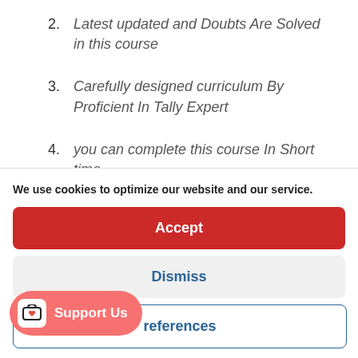2. Latest updated and Doubts Are Solved in this course
3. Carefully designed curriculum By Proficient In Tally Expert
4. you can complete this course In Short time
We use cookies to optimize our website and our service.
Accept
Dismiss
references
Support Us